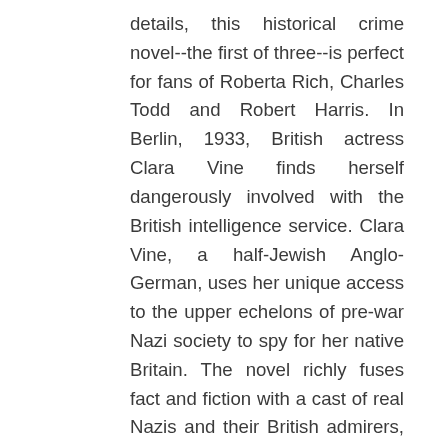details, this historical crime novel--the first of three--is perfect for fans of Roberta Rich, Charles Todd and Robert Harris. In Berlin, 1933, British actress Clara Vine finds herself dangerously involved with the British intelligence service. Clara Vine, a half-Jewish Anglo-German, uses her unique access to the upper echelons of pre-war Nazi society to spy for her native Britain. The novel richly fuses fact and fiction with a cast of real Nazis and their British admirers, such as the Mitford sisters and the Duke and Duchess of Windsor. Clara Vine, through her friendship with Eva Braun, finds herself enmeshed in a plot to assassinate Hitler. The setting of pre-war Germany is a treasure trove, and the irresistably fresh perspective of Nazi wives puts a new spin on an ever-fascinating era, fraught with glamour, political tension, tragedy